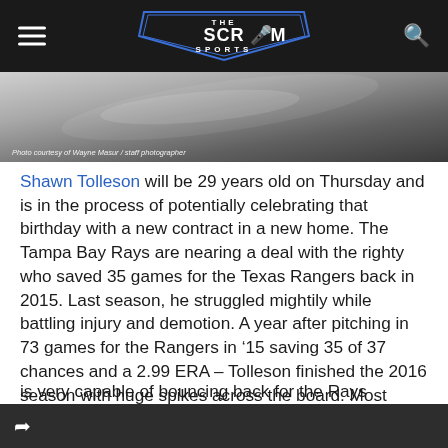The Scrum Sports
[Figure (photo): Partial sports photo in grayscale; photo courtesy of Wayne Masur / staff photographer]
Photo courtesy of Wayne Masur / staff photographer
Shawn Tolleson will be 29 years old on Thursday and is in the process of potentially celebrating that birthday with a new contract in a new home. The Tampa Bay Rays are nearing a deal with the righty who saved 35 games for the Texas Rangers back in 2015. Last season, he struggled mightily while battling injury and demotion. A year after pitching in 73 games for the Rangers in ‘15 saving 35 of 37 chances and a 2.99 ERA – Tolleson finished the 2016 season with huge spikes across the board. Most notably that 7.68 ERA in 37 games, saving 11 of 15.
is very capable of bouncing back for the Rays